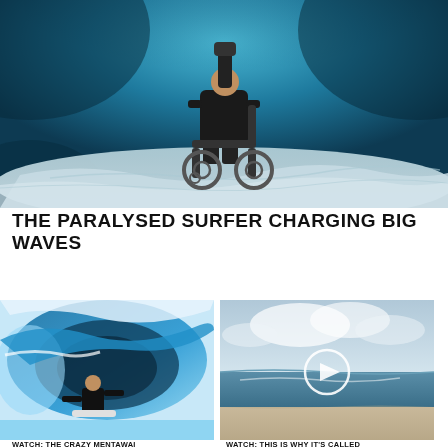[Figure (photo): Underwater photo of a person sitting in a wheelchair on the sandy ocean floor, wearing a wetsuit, with a camera or device attached above, blue water and light rays overhead]
THE PARALYSED SURFER CHARGING BIG WAVES
[Figure (photo): Surfer riding inside a large blue barrel wave, wearing a black wetsuit]
[Figure (photo): Calm beach scene with overcast sky and gentle waves, with a white play button overlay indicating a video]
WATCH: THE CRAZY MENTAWAI
WATCH: THIS IS WHY IT'S CALLED